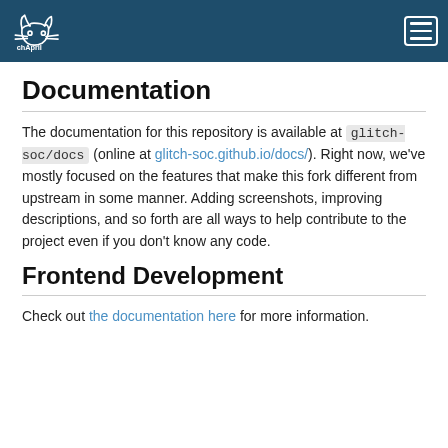chApril [logo] [hamburger menu]
Documentation
The documentation for this repository is available at glitch-soc/docs (online at glitch-soc.github.io/docs/). Right now, we've mostly focused on the features that make this fork different from upstream in some manner. Adding screenshots, improving descriptions, and so forth are all ways to help contribute to the project even if you don't know any code.
Frontend Development
Check out the documentation here for more information.